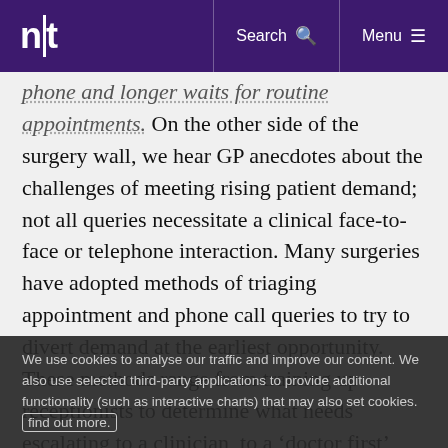nt | Search | Menu
phone and longer waits for routine appointments. On the other side of the surgery wall, we hear GP anecdotes about the challenges of meeting rising patient demand; not all queries necessitate a clinical face-to-face or telephone interaction. Many surgeries have adopted methods of triaging appointment and phone call queries to try to divert demand at the earliest opportunity. These methods range from training up receptionists to determine what needs escalating to a clinician, to a ‘doctor first’ approach, with GPs triaging all phone calls coming into the surgery.
The Harley Street approach to tackle demand
We use cookies to analyse our traffic and improve our content. We also use selected third-party applications to provide additional functionality (such as interactive charts) that may also set cookies. find out more.